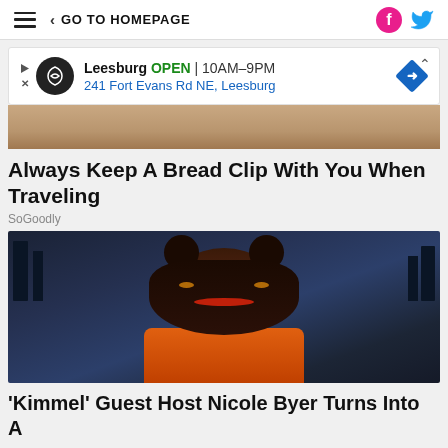GO TO HOMEPAGE
[Figure (screenshot): Advertisement banner: Leesburg OPEN 10AM-9PM, 241 Fort Evans Rd NE, Leesburg with navigation icon]
[Figure (photo): Partial close-up photo of a person's hand or skin, cropped at top]
Always Keep A Bread Clip With You When Traveling
SoGoodly
[Figure (photo): Woman (Nicole Byer) sitting at a TV talk show desk with city skyline background, wearing orange outfit with colorful eye makeup and hoop earrings]
'Kimmel' Guest Host Nicole Byer Turns Into A